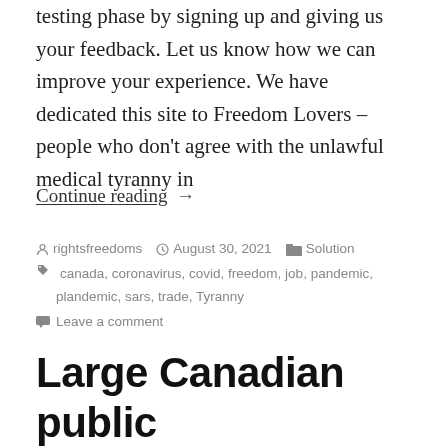testing phase by signing up and giving us your feedback. Let us know how we can improve your experience. We have dedicated this site to Freedom Lovers – people who don't agree with the unlawful medical tyranny in
Continue reading →
rightsfreedoms   August 30, 2021   Solution   canada, coronavirus, covid, freedom, job, pandemic, plandemic, sars, trade, Tyranny   Leave a comment
Large Canadian public service union comes out